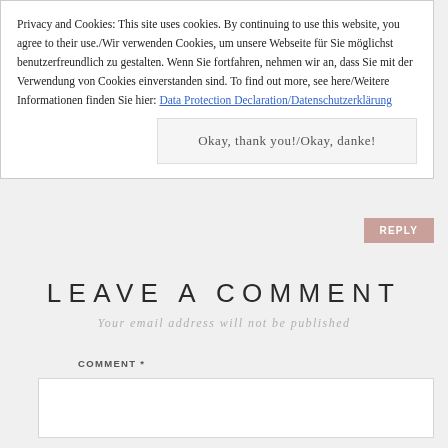Privacy and Cookies: This site uses cookies. By continuing to use this website, you agree to their use./Wir verwenden Cookies, um unsere Webseite für Sie möglichst benutzerfreundlich zu gestalten. Wenn Sie fortfahren, nehmen wir an, dass Sie mit der Verwendung von Cookies einverstanden sind. To find out more, see here/Weitere Informationen finden Sie hier: Data Protection Declaration/Datenschutzerklärung
Okay, thank you!/Okay, danke!
REPLY
LEAVE A COMMENT
Your email address will not be published
COMMENT *